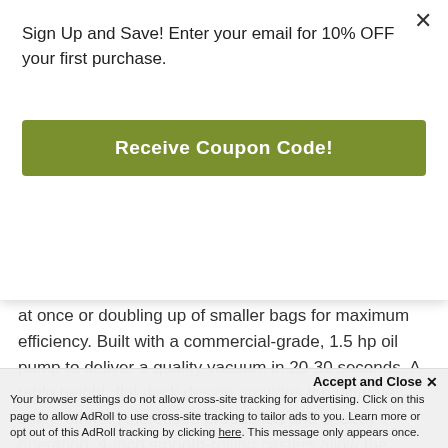Sign Up and Save! Enter your email for 10% OFF your first purchase.
[Figure (other): Green 'Receive Coupon Code!' button]
provides the option of sealing two large chamber pouches at once or doubling up of smaller bags for maximum efficiency. Built with a commercial-grade, 1.5 hp oil pump to deliver a quality vacuum in 20-30 seconds. A table height, flat deck design provides the ultimate utility, offering increased production and speedy operation. 4-inch smooth-rolling casters allow the VacMaster VP400 Double Chamber Vacuum Sealer to be moved easily for cleaning or maintenance. The VP400 base is constructed of stainless steel with fully skirted access panels to promote easy
Accept and Close ✕
Your browser settings do not allow cross-site tracking for advertising. Click on this page to allow AdRoll to use cross-site tracking to tailor ads to you. Learn more or opt out of this AdRoll tracking by clicking here. This message only appears once.